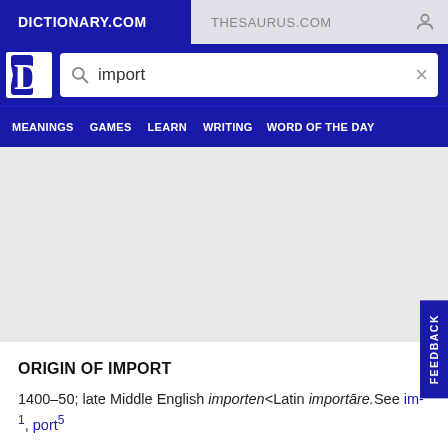DICTIONARY.COM | THESAURUS.COM
[Figure (screenshot): Dictionary.com logo with search bar containing 'import']
MEANINGS  GAMES  LEARN  WRITING  WORD OF THE DAY
ORIGIN OF IMPORT
1400–50; late Middle English importen<Latin importāre.See im-1, port5